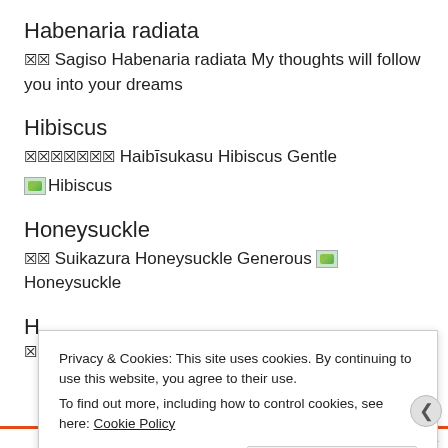Habenaria radiata
🀆🀆 Sagiso Habenaria radiata My thoughts will follow you into your dreams
Hibiscus
🀆🀆🀆🀆🀆🀆🀆 Haibīsukasu Hibiscus Gentle
[img: Hibiscus] Hibiscus
Honeysuckle
🀆🀆 Suikazura Honeysuckle Generous [img: Honeysuckle]
Privacy & Cookies: This site uses cookies. By continuing to use this website, you agree to their use. To find out more, including how to control cookies, see here: Cookie Policy
Close and accept